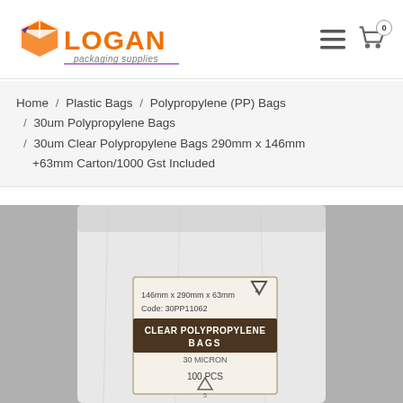[Figure (logo): Logan Packaging Supplies logo with orange box icon and orange/purple text]
[Figure (other): Navigation icons: hamburger menu and shopping cart with badge showing 0]
Home / Plastic Bags / Polypropylene (PP) Bags / 30um Polypropylene Bags / 30um Clear Polypropylene Bags 290mm x 146mm +63mm Carton/1000 Gst Included
[Figure (photo): Photo of a stack of clear polypropylene bags with label: 146mm x 290mm x 63mm, Code: 30PP11062, CLEAR POLYPROPYLENE BAGS 30 MICRON, 100 PCS]